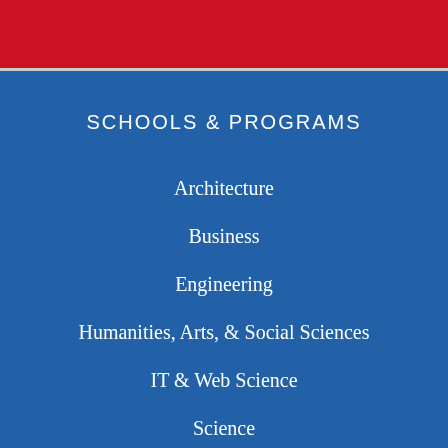[Figure (illustration): Red header bar at top of page]
SCHOOLS & PROGRAMS
Architecture
Business
Engineering
Humanities, Arts, & Social Sciences
IT & Web Science
Science